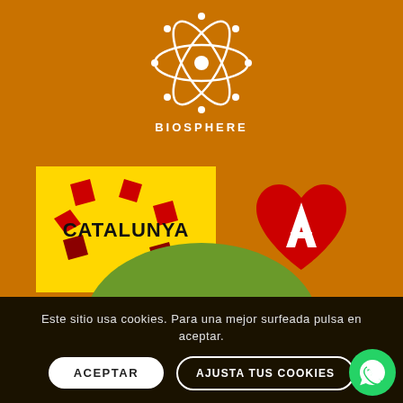[Figure (logo): Biosphere sustainability logo - circular atomic/molecular symbol in white on orange background with text BIOSPHERE below]
[Figure (logo): Catalunya tourism logo - yellow rectangle with red geometric flower/star shapes and bold CATALUNYA text]
[Figure (logo): Heart-shaped red logo with white letter A inside]
[Figure (illustration): Green dome/hill shape at bottom of orange section]
Este sitio usa cookies. Para una mejor surfeada pulsa en aceptar.
ACEPTAR
AJUSTA TUS COOKIES